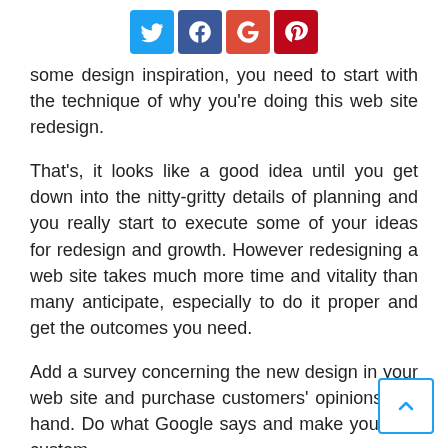[Figure (other): Social media sharing buttons: Twitter (blue), Facebook (dark blue), Google+ (red), Pinterest (dark red)]
some design inspiration, you need to start with the technique of why you're doing this web site redesign.
That's, it looks like a good idea until you get down into the nitty-gritty details of planning and you really start to execute some of your ideas for redesign and growth. However redesigning a web site takes much more time and vitality than many anticipate, especially to do it proper and get the outcomes you need.
Add a survey concerning the new design in your web site and purchase customers' opinions first hand. Do what Google says and make your cell customers completely satisfied. DreamHost provides customers